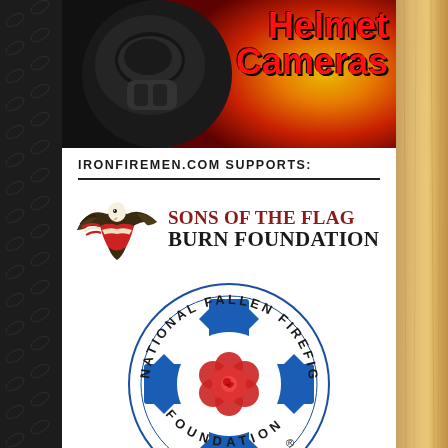[Figure (photo): Firefighter wearing gas mask and helmet against fire background with text 'Helmet Cameras' in red bold letters]
IRONFIREMEN.COM SUPPORTS:
[Figure (logo): Sons of the Flag Burn Foundation logo with bald eagle carrying American flag colors, text reads SONS OF THE FLAG BURN FOUNDATION]
[Figure (logo): National Fallen Firefighters Foundation logo - circular text around a blue Maltese cross with red rose in center, registered trademark symbol]